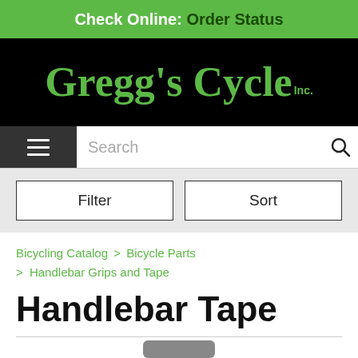Check Online: Order Status
[Figure (logo): Gregg's Cycle Inc. logo in green lettering on black background]
Search
Filter  Sort
Bicycling Catalog > Bicycle Parts > Handlebar Grips and Tape
Handlebar Tape